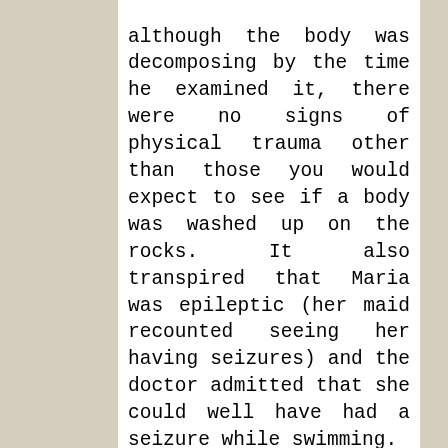although the body was decomposing by the time he examined it, there were no signs of physical trauma other than those you would expect to see if a body was washed up on the rocks. It also transpired that Maria was epileptic (her maid recounted seeing her having seizures) and the doctor admitted that she could well have had a seizure while swimming.

The jury was discharged and after twenty minutes came back to say they could not envisage reaching an agreement. The judge told them to try again and when they still couldn't agree he said that they would have to be locked up for the night without food (!!) until they reached a decision. Thirty